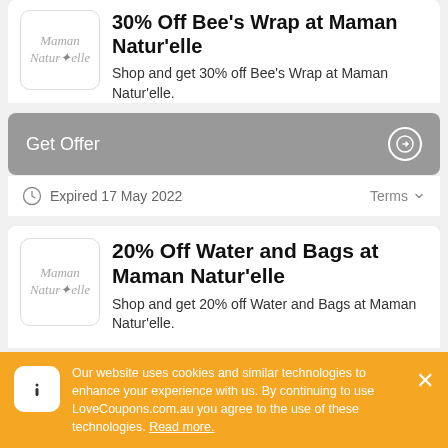[Figure (logo): Maman Natur'elle logo in grey italic text with a small leaf accent]
30% Off Bee's Wrap at Maman Natur'elle
Shop and get 30% off Bee's Wrap at Maman Natur'elle.
Get Offer →
Expired 17 May 2022   Terms ˅
[Figure (logo): Maman Natur'elle logo in grey italic text with a small leaf accent]
20% Off Water and Bags at Maman Natur'elle
Shop and get 20% off Water and Bags at Maman Natur'elle.
Our website uses cookies and similar technologies to enhance your experience with us. By continuing to use LoveCoupons.com.au you agree to the use of these technologies. Read more.